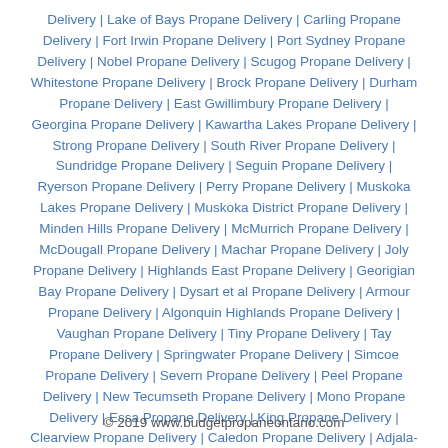Delivery | Lake of Bays Propane Delivery | Carling Propane Delivery | Fort Irwin Propane Delivery | Port Sydney Propane Delivery | Nobel Propane Delivery | Scugog Propane Delivery | Whitestone Propane Delivery | Brock Propane Delivery | Durham Propane Delivery | East Gwillimbury Propane Delivery | Georgina Propane Delivery | Kawartha Lakes Propane Delivery | Strong Propane Delivery | South River Propane Delivery | Sundridge Propane Delivery | Seguin Propane Delivery | Ryerson Propane Delivery | Perry Propane Delivery | Muskoka Lakes Propane Delivery | Muskoka District Propane Delivery | Minden Hills Propane Delivery | McMurrich Propane Delivery | McDougall Propane Delivery | Machar Propane Delivery | Joly Propane Delivery | Highlands East Propane Delivery | Georigian Bay Propane Delivery | Dysart et al Propane Delivery | Armour Propane Delivery | Algonquin Highlands Propane Delivery | Vaughan Propane Delivery | Tiny Propane Delivery | Tay Propane Delivery | Springwater Propane Delivery | Simcoe Propane Delivery | Severn Propane Delivery | Peel Propane Delivery | New Tecumseth Propane Delivery | Mono Propane Delivery | Essa Propane Delivery | King Propane Delivery | Clearview Propane Delivery | Caledon Propane Delivery | Adjala-Tosorontio Propane Delivery
© 2019 www.budgetpropaneontario.com